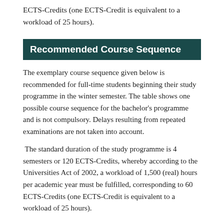ECTS-Credits (one ECTS-Credit is equivalent to a workload of 25 hours).
Recommended Course Sequence
The exemplary course sequence given below is recommended for full-time students beginning their study programme in the winter semester. The table shows one possible course sequence for the bachelor's programme and is not compulsory. Delays resulting from repeated examinations are not taken into account.
The standard duration of the study programme is 4 semesters or 120 ECTS-Credits, whereby according to the Universities Act of 2002, a workload of 1,500 (real) hours per academic year must be fulfilled, corresponding to 60 ECTS-Credits (one ECTS-Credit is equivalent to a workload of 25 hours).